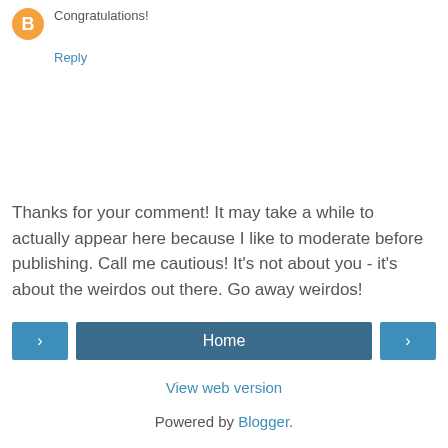[Figure (logo): Orange circular Blogger avatar icon with letter B]
Congratulations!
Reply
Thanks for your comment! It may take a while to actually appear here because I like to moderate before publishing. Call me cautious! It's not about you - it's about the weirdos out there. Go away weirdos!
< Home >
View web version
Powered by Blogger.